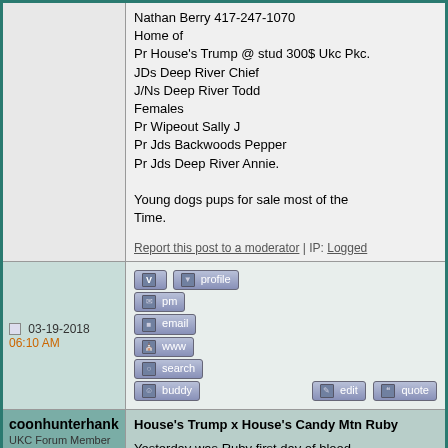Nathan Berry 417-247-1070
Home of
Pr House's Trump @ stud 300$ Ukc Pkc.
JDs Deep River Chief
J/Ns Deep River Todd
Females
Pr Wipeout Sally J
Pr Jds Backwoods Pepper
Pr Jds Deep River Annie.

Young dogs pups for sale most of the
Time.
Report this post to a moderator | IP: Logged
03-19-2018 06:10 AM
[Figure (screenshot): Forum action buttons: profile, pm, email, www, search, buddy, edit, quote]
coonhunterhank
UKC Forum Member

Registered: Mar 2006
Location: summersvillemissouri
Posts: 1282
House's Trump x House's Candy Mtn Ruby

Yesterday was Ruby first day of blood.
Pups be 250$ each ukc Pkc reg.
1 female booked.